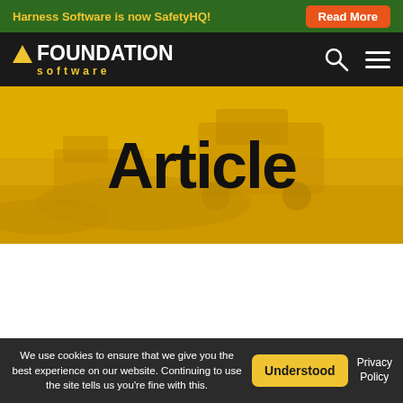Harness Software is now SafetyHQ! Read More
[Figure (logo): Foundation Software logo with yellow chevron/triangle and yellow 'software' subtext on black nav bar with search and hamburger menu icons]
[Figure (photo): Yellow-tinted hero banner with construction equipment/bulldozer in background and large bold text 'Article' centered]
We use cookies to ensure that we give you the best experience on our website. Continuing to use the site tells us you're fine with this. Understood Privacy Policy